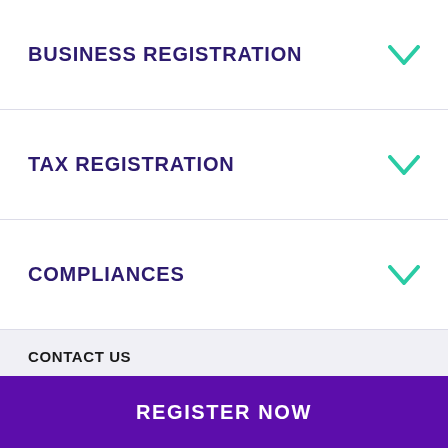BUSINESS REGISTRATION
TAX REGISTRATION
COMPLIANCES
CONTACT US
[Figure (illustration): Social media icons: Facebook (f), Twitter (bird), LinkedIn (in) in purple]
Login
REGISTER NOW